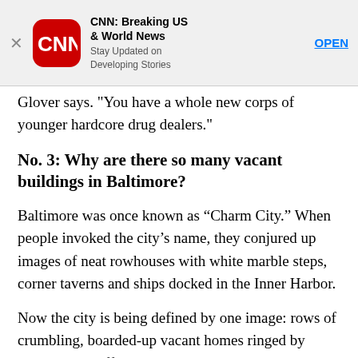[Figure (screenshot): CNN app advertisement banner with red CNN logo icon, app title 'CNN: Breaking US & World News', subtitle 'Stay Updated on Developing Stories', and an OPEN button link. Close X button on left.]
Glover says. "You have a whole new corps of younger hardcore drug dealers."
No. 3: Why are there so many vacant buildings in Baltimore?
Baltimore was once known as “Charm City.” When people invoked the city’s name, they conjured up images of neat rowhouses with white marble steps, corner taverns and ships docked in the Inner Harbor.
Now the city is being defined by one image: rows of crumbling, boarded-up vacant homes ringed by weeds and graffiti. There are at least 17,000 vacant houses in Baltimore. Parts of the city look like backdrops for post-apocalyptic sci-fi movies. Even